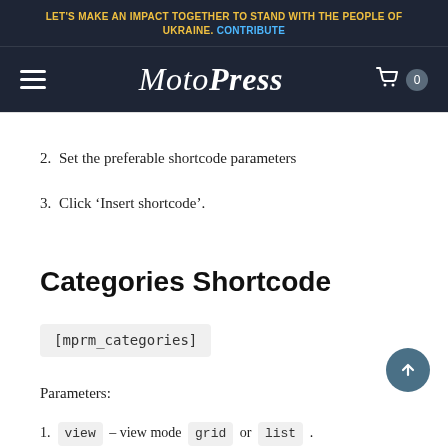LET'S MAKE AN IMPACT TOGETHER TO STAND WITH THE PEOPLE OF UKRAINE. CONTRIBUTE
[Figure (logo): MotoPress logo with hamburger menu and cart icon on dark navy background]
2. Set the preferable shortcode parameters
3. Click 'Insert shortcode'.
Categories Shortcode
Parameters:
1. view – view mode grid or list.
2. categ – comma-separated categories ID to display